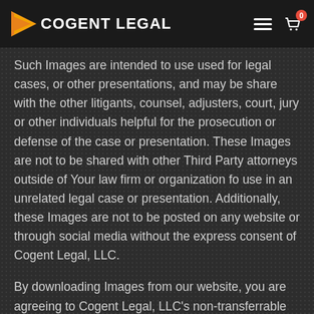COGENT LEGAL
Such Images are intended to use used for legal cases, or other presentations, and may be share with the other litigants, counsel, adjusters, court, jury or other individuals helpful for the prosecution or defense of the case or presentation. These Images are not to be shared with other Third Party attorneys outside of Your law firm or organization fo use in an unrelated legal case or presentation. Additionally, these Images are not to be posted on any website or through social media without the express consent of Cogent Legal, LLC.
By downloading Images from our website, you are agreeing to Cogent Legal, LLC's non-transferrable